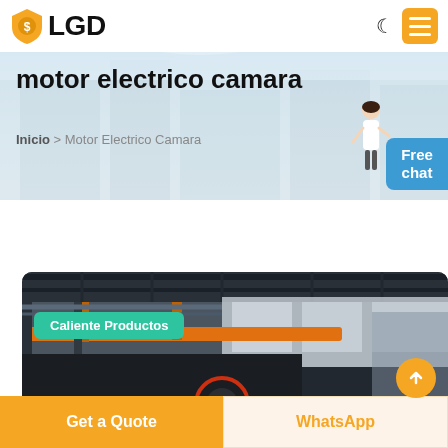LGD
motor electrico camara
Inicio > Motor Electrico Camara
[Figure (screenshot): Blue button with text 'Free chat']
[Figure (photo): Industrial factory interior with crane and machinery, with green badge 'Caliente Productos' and orange scroll-to-top button]
Get a Quote
WhatsApp